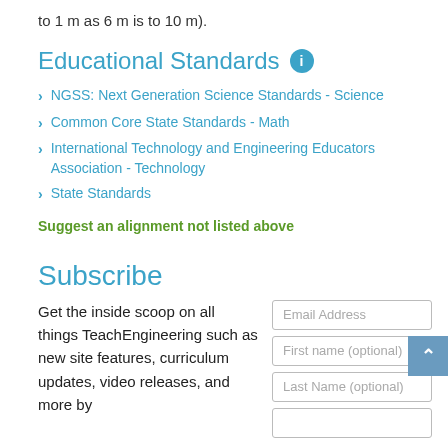to 1 m as 6 m is to 10 m).
Educational Standards
NGSS: Next Generation Science Standards - Science
Common Core State Standards - Math
International Technology and Engineering Educators Association - Technology
State Standards
Suggest an alignment not listed above
Subscribe
Get the inside scoop on all things TeachEngineering such as new site features, curriculum updates, video releases, and more by
[Figure (screenshot): Subscribe form with Email Address, First name (optional), Last Name (optional) input fields and a back-to-top button]